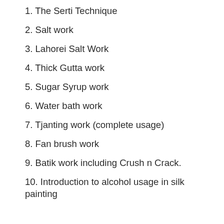1. The Serti Technique
2. Salt work
3. Lahorei Salt Work
4. Thick Gutta work
5. Sugar Syrup work
6. Water bath work
7. Tjanting work (complete usage)
8. Fan brush work
9. Batik work including Crush n Crack.
10. Introduction to alcohol usage in silk painting